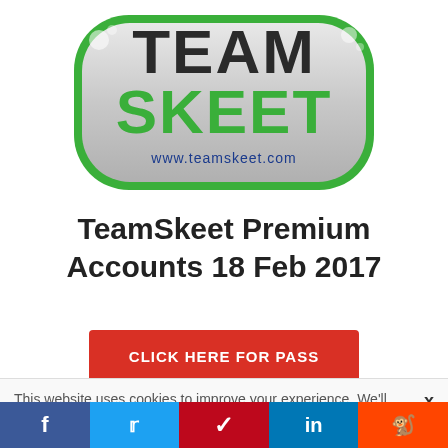[Figure (logo): TeamSkeet logo badge - silver/green rounded rectangle badge with 'TEAM SKEET' text in green and blue, www.teamskeet.com at bottom]
TeamSkeet Premium Accounts 18 Feb 2017
CLICK HERE FOR PASS
http://teamskeet.com
This website uses cookies to improve your experience. We'll assume you accept this policy as long as you are using this
f  twitter  p  in  reddit